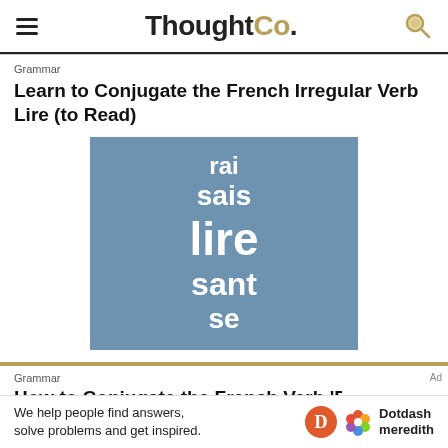ThoughtCo.
Grammar
Learn to Conjugate the French Irregular Verb Lire (to Read)
[Figure (illustration): Blue-grey background with white French verb conjugation word fragments stacked: rai, sais, lire, sant, se]
Grammar
How to Conjugate the French Verb 'Promettre'
We help people find answers, solve problems and get inspired. Dotdash meredith